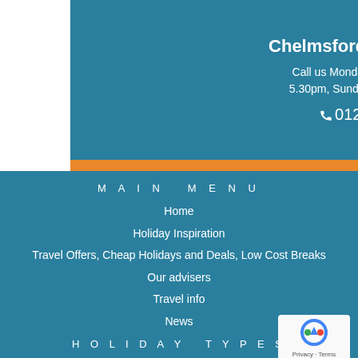Chelmsford Travel Branch
Call us Monday to Saturday 9am – 5.30pm, Sunday 10.30am – 4.30pm
📞 01245 490290
MAIN MENU
Home
Holiday Inspiration
Travel Offers, Cheap Holidays and Deals, Low Cost Breaks
Our advisers
Travel info
News
HOLIDAY TYPES
Beach holidays
City breaks